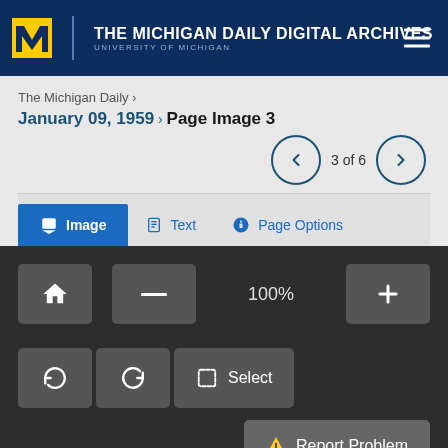THE MICHIGAN DAILY DIGITAL ARCHIVES — UNIVERSITY OF MICHIGAN
The Michigan Daily >
January 09, 1959 > Page Image 3
3 of 6
Image   Text   Page Options
100%
Select
Report Problem